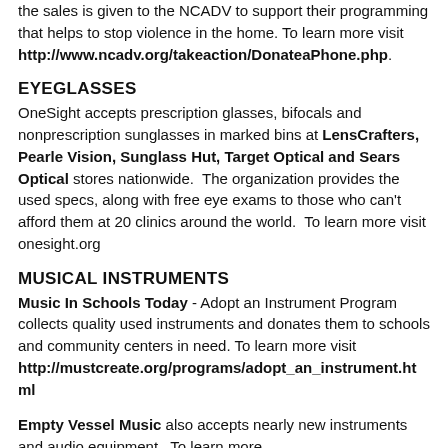the sales is given to the NCADV to support their programming that helps to stop violence in the home. To learn more visit http://www.ncadv.org/takeaction/DonateaPhone.php.
EYEGLASSES
OneSight accepts prescription glasses, bifocals and nonprescription sunglasses in marked bins at LensCrafters, Pearle Vision, Sunglass Hut, Target Optical and Sears Optical stores nationwide. The organization provides the used specs, along with free eye exams to those who can't afford them at 20 clinics around the world. To learn more visit onesight.org
MUSICAL INSTRUMENTS
Music In Schools Today - Adopt an Instrument Program collects quality used instruments and donates them to schools and community centers in need. To learn more visit http://mustcreate.org/programs/adopt_an_instrument.html
Empty Vessel Music also accepts nearly new instruments and audio equipment. To learn more